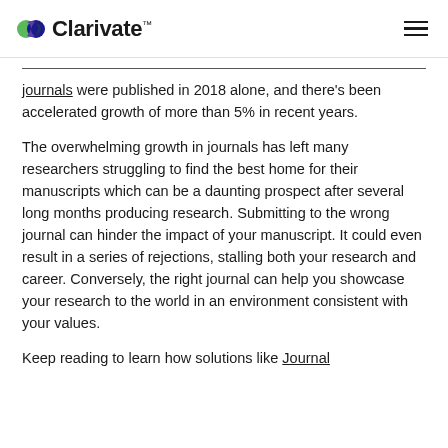Clarivate
journals were published in 2018 alone, and there’s been accelerated growth of more than 5% in recent years.
The overwhelming growth in journals has left many researchers struggling to find the best home for their manuscripts which can be a daunting prospect after several long months producing research. Submitting to the wrong journal can hinder the impact of your manuscript. It could even result in a series of rejections, stalling both your research and career. Conversely, the right journal can help you showcase your research to the world in an environment consistent with your values.
Keep reading to learn how solutions like Journal